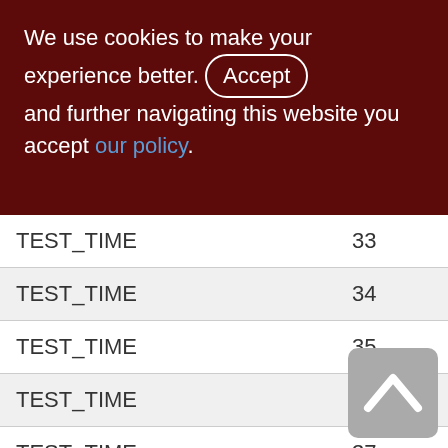We use cookies to make your experience better. By accepting and further navigating this website you accept our policy.
| TEST_TIME | 33 |
| TEST_TIME | 34 |
| TEST_TIME | 35 |
| TEST_TIME | 36 |
| TEST_TIME | 37 |
| TEST_TIME | 38 |
| TEST_TIME | 39 |
| TEST_TIME | 40 |